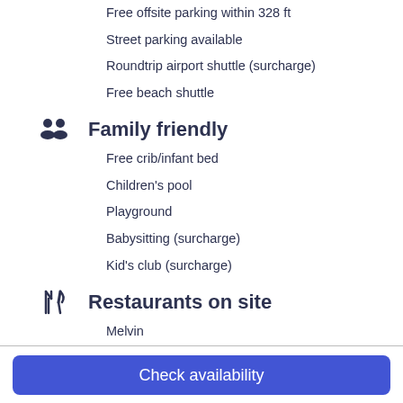Free offsite parking within 328 ft
Street parking available
Roundtrip airport shuttle (surcharge)
Free beach shuttle
Family friendly
Free crib/infant bed
Children's pool
Playground
Babysitting (surcharge)
Kid's club (surcharge)
Restaurants on site
Melvin
Kitchen
Check availability